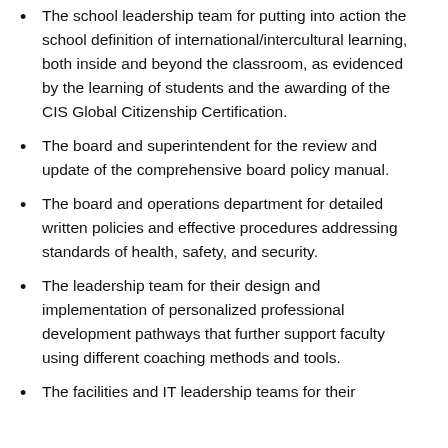The school leadership team for putting into action the school definition of international/intercultural learning, both inside and beyond the classroom, as evidenced by the learning of students and the awarding of the CIS Global Citizenship Certification.
The board and superintendent for the review and update of the comprehensive board policy manual.
The board and operations department for detailed written policies and effective procedures addressing standards of health, safety, and security.
The leadership team for their design and implementation of personalized professional development pathways that further support faculty using different coaching methods and tools.
The facilities and IT leadership teams for their